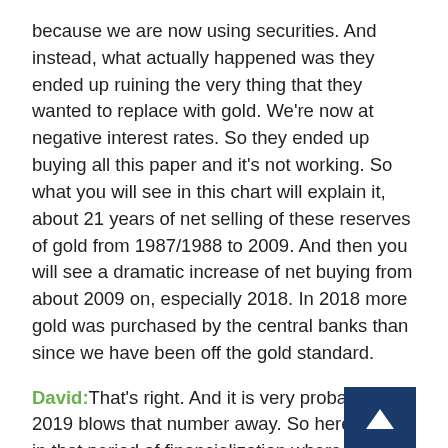because we are now using securities. And instead, what actually happened was they ended up ruining the very thing that they wanted to replace with gold. We're now at negative interest rates. So they ended up buying all this paper and it's not working. So what you will see in this chart will explain it, about 21 years of net selling of these reserves of gold from 1987/1988 to 2009. And then you will see a dramatic increase of net buying from about 2009 on, especially 2018. In 2018 more gold was purchased by the central banks than since we have been off the gold standard.
David: That's right. And it is very probable that 2019 blows that number away. So here we are in that period of financialization where creativity and finance were paramount, and where the advantage went to those who